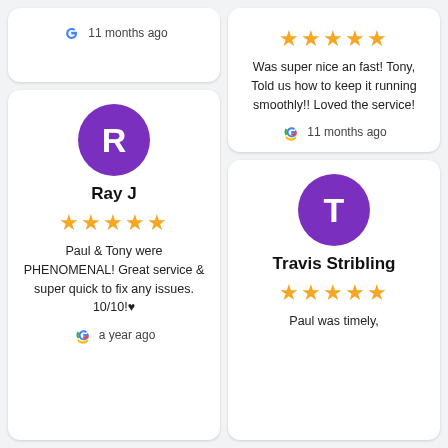[Figure (infographic): Google review card (partial, top cut off) showing '11 months ago' with Google logo]
Ray J
★★★★★
Paul & Tony were PHENOMENAL! Great service & super quick to fix any issues. 10/10!♥
a year ago
★★★★★
Was super nice an fast! Tony, Told us how to keep it running smoothly!! Loved the service!
11 months ago
Travis Stribling
★★★★★
Paul was timely,